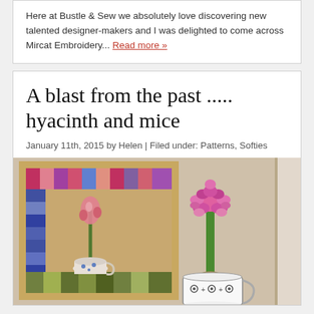Here at Bustle & Sew we absolutely love discovering new talented designer-makers and I was delighted to come across Mircat Embroidery... Read more »
A blast from the past ..... hyacinth and mice
January 11th, 2015 by Helen | Filed under: Patterns, Softies
[Figure (photo): A framed textile artwork showing a hyacinth in a teacup with patchwork border, next to a real pink hyacinth plant growing in a patterned mug, set against a warm beige wall with a door frame visible on the right.]